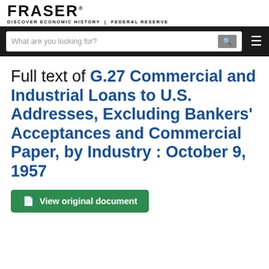FRASER DISCOVER ECONOMIC HISTORY | FEDERAL RESERVE
Full text of G.27 Commercial and Industrial Loans to U.S. Addresses, Excluding Bankers' Acceptances and Commercial Paper, by Industry : October 9, 1957
View original document